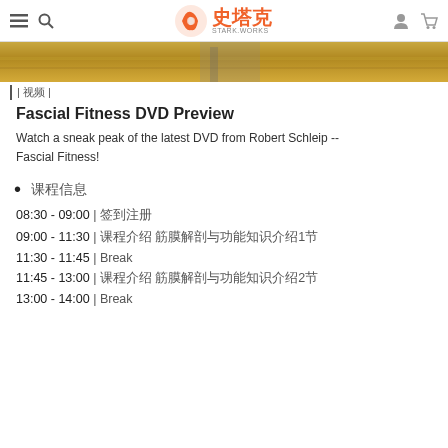史塔克 STARK.WORKS
[Figure (photo): Hero image showing a wooden floor surface, partial view at top of page]
| 视频 |
Fascial Fitness DVD Preview
Watch a sneak peak of the latest DVD from Robert Schleip -- Fascial Fitness!
课程信息
08:30 - 09:00 | 签到注册
09:00 - 11:30 | 课程介绍 筋膜解剖与功能知识介绍1节
11:30 - 11:45 | Break
11:45 - 13:00 | 课程介绍 筋膜解剖与功能知识介绍2节
13:00 - 14:00 | Break